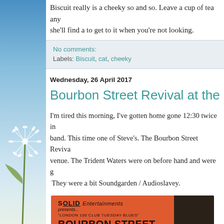Biscuit really is a cheeky so and so. Leave a cup of tea any she'll find a to get to it when you're not looking.
No comments:
Labels: Biscuit, cat, cheeky
Wednesday, 26 April 2017
Bourbon Street Revival at the 100 Clu
I'm tired this morning, I've gotten home gone 12:30 twice in band. This time one of Steve's. The Bourbon Street Reviva venue. The Trident Waters were on before hand and were g They were a bit Soundgarden / Audioslavey.
[Figure (photo): Photo of a concert ticket/flyer for Bourbon Street Revival at the 100 Club. Orange/red ticket reading: SOLID Entertainments presents... 'LONDON 100 CLUB TUESDAY BLUES' BOURBON STREET REVIVAL • TRIDENT WATERS • RAINBREAKERS]